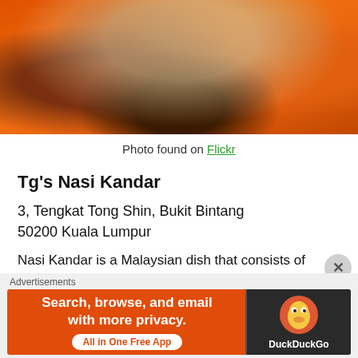[Figure (photo): Close-up photo of an orange plate with steamed rice and dark curry/sauce on a wooden table background]
Photo found on Flickr
Tg's Nasi Kandar
3, Tengkat Tong Shin, Bukit Bintang
50200 Kuala Lumpur
Nasi Kandar is a Malaysian dish that consists of steamed rice and a variety of curries and side dishes. It's very reasonably priced, but that doesn't affect the amazing quality of food that Tg's offers. This is a popular hangout destination for workers
Advertisements
[Figure (screenshot): DuckDuckGo advertisement banner: 'Search, browse, and email with more privacy. All in One Free App' with DuckDuckGo logo on dark right panel]